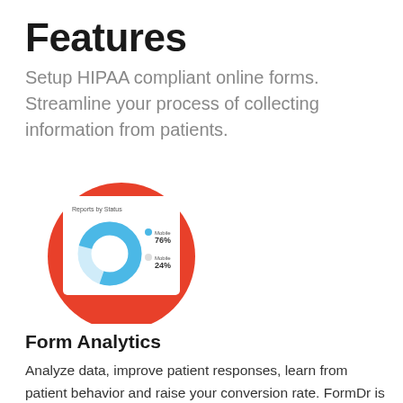Features
Setup HIPAA compliant online forms. Streamline your process of collecting information from patients.
[Figure (screenshot): A donut chart dashboard screenshot showing 'Reports by Status' with a blue donut chart. The chart shows two segments: 76% and 24%, displayed on a white card with a red/orange circular background behind it.]
Form Analytics
Analyze data, improve patient responses, learn from patient behavior and raise your conversion rate. FormDr is the only tool you require to understand the needs of your patients.